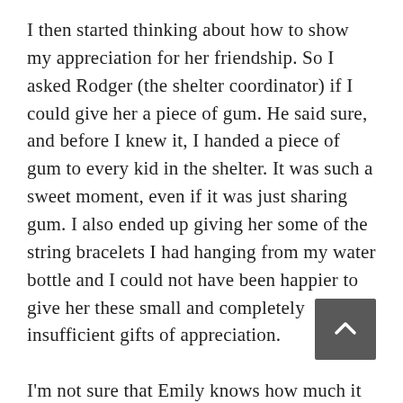I then started thinking about how to show my appreciation for her friendship. So I asked Rodger (the shelter coordinator) if I could give her a piece of gum. He said sure, and before I knew it, I handed a piece of gum to every kid in the shelter. It was such a sweet moment, even if it was just sharing gum. I also ended up giving her some of the string bracelets I had hanging from my water bottle and I could not have been happier to give her these small and completely insufficient gifts of appreciation.

I'm not sure that Emily knows how much it meant for me to meet her that day. I'm sure it was just her normal reaction to meeting someone like me, but I don't think I can or will ever forget Emily. She will be a constant reminder that there are human beings to fight for at the shelter and she should be a better